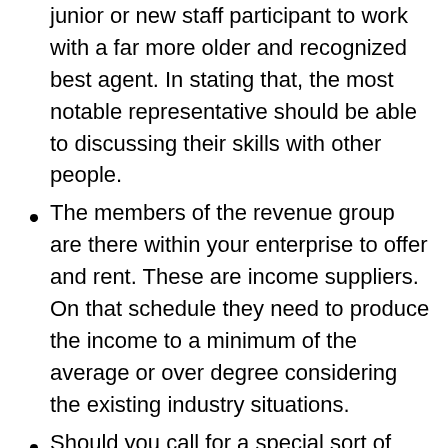junior or new staff participant to work with a far more older and recognized best agent. In stating that, the most notable representative should be able to discussing their skills with other people.
The members of the revenue group are there within your enterprise to offer and rent. These are income suppliers. On that schedule they need to produce the income to a minimum of the average or over degree considering the existing industry situations.
Should you call for a special sort of